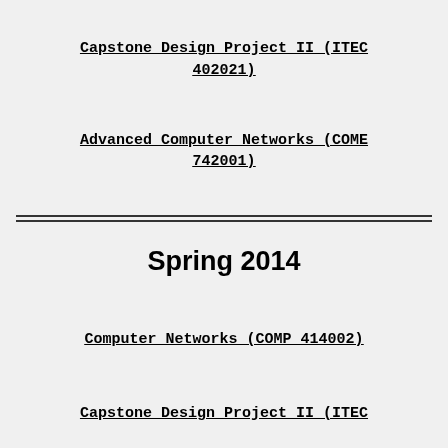Capstone Design Project II (ITEC 402021)
Advanced Computer Networks (COME 742001)
Spring 2014
Computer Networks (COMP 414002)
Capstone Design Project II (ITEC